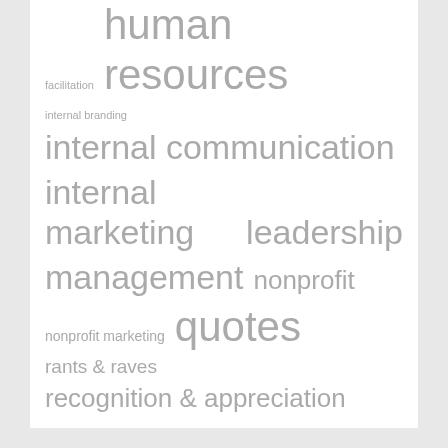facilitation
human resources
internal branding
internal communication
internal marketing
leadership
management
nonprofit
nonprofit marketing
quotes
rants & raves
recognition & appreciation
recommendations
strategy
volunteer engagement
volunteers